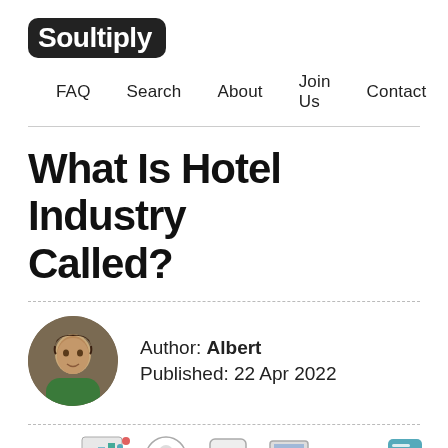Soultiply
FAQ  Search  About  Join Us  Contact
What Is Hotel Industry Called?
Author: Albert
Published: 22 Apr 2022
[Figure (illustration): Bottom row of small icons representing various digital/communication topics]